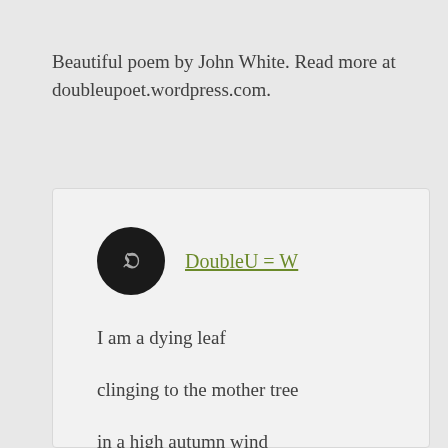Beautiful poem by John White. Read more at doubleupoet.wordpress.com.
DoubleU = W
I am a dying leaf

clinging to the mother tree

in a high autumn wind

I am unique crystal